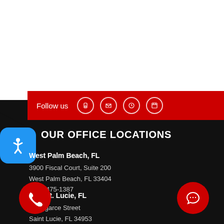Follow us
OUR OFFICE LOCATIONS
West Palm Beach, FL
3900 Fiscal Court, Suite 200
West Palm Beach, FL 33404
(561) 475-1387
Port St. Lucie, FL
W Edgarce Street
Saint Lucie, FL 34953
(561) 475-1387